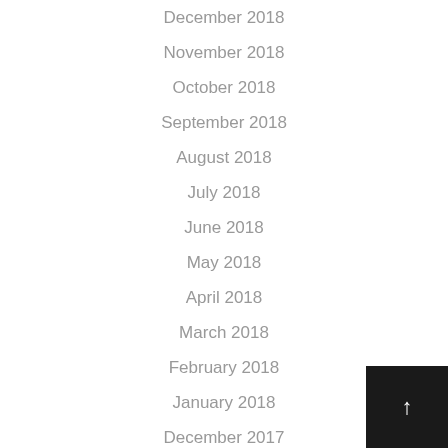December 2018
November 2018
October 2018
September 2018
August 2018
July 2018
June 2018
May 2018
April 2018
March 2018
February 2018
January 2018
December 2017
November 2017
October 2017